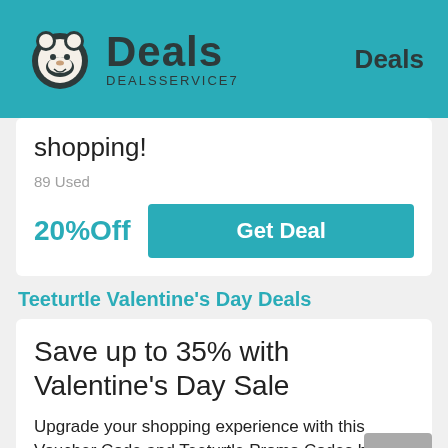Deals DEALSSERVICE7 Deals
shopping!
89 Used
20%Off
Get Deal
Teeturtle Valentine's Day Deals
Save up to 35% with Valentine's Day Sale
Upgrade your shopping experience with this Voucher Code and Teeturtle Promo Codes has been Proven available. Get